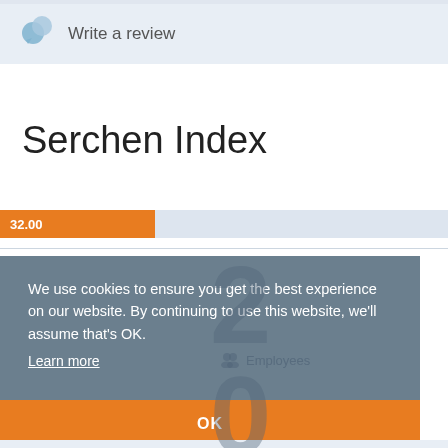Write a review
Serchen Index
32.00
We use cookies to ensure you get the best experience on our website. By continuing to use this website, we'll assume that's OK.
Learn more
OK